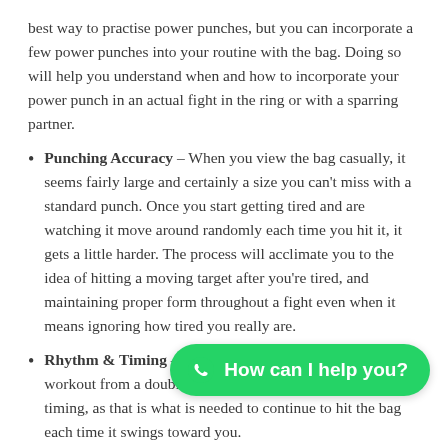best way to practise power punches, but you can incorporate a few power punches into your routine with the bag. Doing so will help you understand when and how to incorporate your power punch in an actual fight in the ring or with a sparring partner.
Punching Accuracy – When you view the bag casually, it seems fairly large and certainly a size you can't miss with a standard punch. Once you start getting tired and are watching it move around randomly each time you hit it, it gets a little harder. The process will acclimate you to the idea of hitting a moving target after you're tired, and maintaining proper form throughout a fight even when it means ignoring how tired you really are.
Rhythm & Timing – The biggest key to getting a great workout from a double end bag is to focus on rhythm and timing, as that is what is needed to continue to hit the bag each time it swings toward you.
Reflexes – Once the cords have been loosened, the bag will jump around in ways you never would have expected. You will build quick r[…] rather than anticipate[…] carry over to when you are in a ring fight or trying to